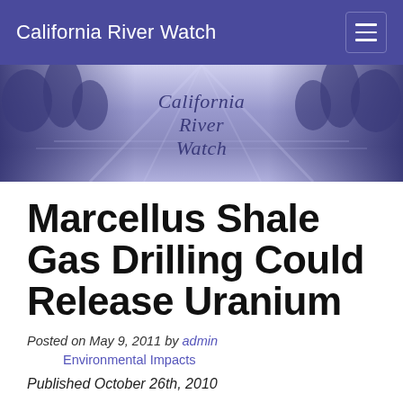California River Watch
[Figure (illustration): California River Watch banner with mirrored river landscape silhouettes and italic text reading 'California River Watch' in center]
Marcellus Shale Gas Drilling Could Release Uranium
Posted on May 9, 2011 by admin
Environmental Impacts
Published October 26th, 2010
Scientists from the University of Buffalo studying hydraulic